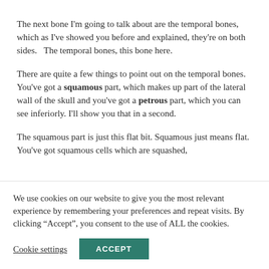The next bone I'm going to talk about are the temporal bones, which as I've showed you before and explained, they're on both sides.   The temporal bones, this bone here.
There are quite a few things to point out on the temporal bones. You've got a squamous part, which makes up part of the lateral wall of the skull and you've got a petrous part, which you can see inferiorly. I'll show you that in a second.
The squamous part is just this flat bit. Squamous just means flat. You've got squamous cells which are squashed,
We use cookies on our website to give you the most relevant experience by remembering your preferences and repeat visits. By clicking “Accept”, you consent to the use of ALL the cookies.
Cookie settings
ACCEPT